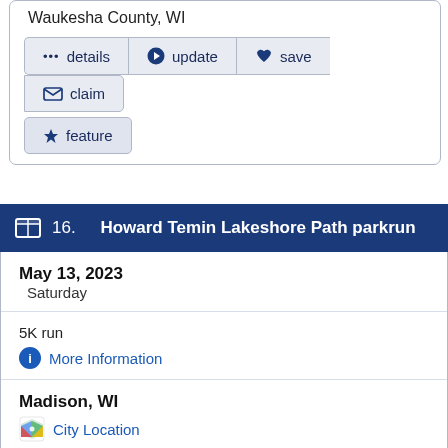Waukesha County, WI
... details  > update  ♥ save  ✉ claim  ★ feature
16. Howard Temin Lakeshore Path parkrun
May 13, 2023
Saturday
5K run
More Information
Madison, WI
City Location
48 miles point to point
Directions
Dane County, WI